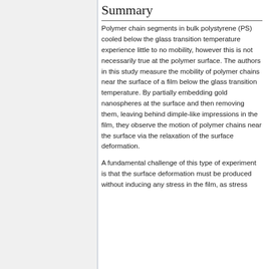Summary
Polymer chain segments in bulk polystyrene (PS) cooled below the glass transition temperature experience little to no mobility, however this is not necessarily true at the polymer surface. The authors in this study measure the mobility of polymer chains near the surface of a film below the glass transition temperature. By partially embedding gold nanospheres at the surface and then removing them, leaving behind dimple-like impressions in the film, they observe the motion of polymer chains near the surface via the relaxation of the surface deformation.
A fundamental challenge of this type of experiment is that the surface deformation must be produced without inducing any stress in the film, as stress...